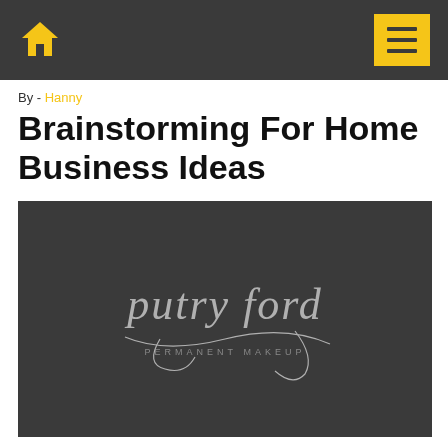Home icon and menu button navigation bar
By - Hanny
Brainstorming For Home Business Ideas
[Figure (logo): Dark background image with cursive script logo reading 'putry ford PERMANENT MAKEUP']